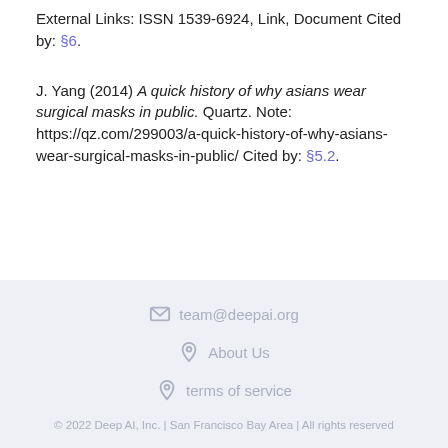External Links: ISSN 1539-6924, Link, Document Cited by: §6.
J. Yang (2014) A quick history of why asians wear surgical masks in public. Quartz. Note: https://qz.com/299003/a-quick-history-of-why-asians-wear-surgical-masks-in-public/ Cited by: §5.2.
team@deepai.org  About Us  terms of service  © 2022 Deep AI, Inc. | San Francisco Bay Area | All rights reserved